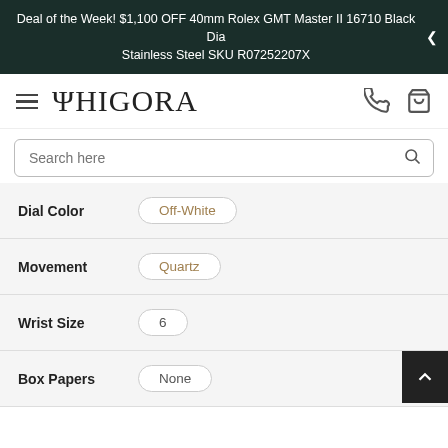Deal of the Week! $1,100 OFF 40mm Rolex GMT Master II 16710 Black Dial Stainless Steel SKU R07252207X
[Figure (logo): Phigora brand logo with hamburger menu, phone icon, and bag icon in navigation bar]
Search here
Dial Color: Off-White
Movement: Quartz
Wrist Size: 6
Box Papers: None